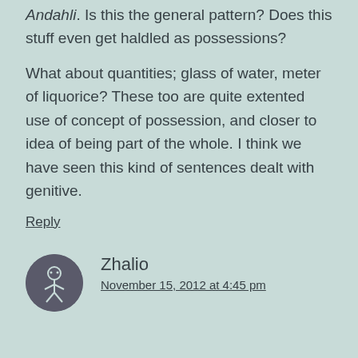Andahli. Is this the general pattern? Does this stuff even get haldled as possessions?
What about quantities; glass of water, meter of liquorice? These too are quite extented use of concept of possession, and closer to idea of being part of the whole. I think we have seen this kind of sentences dealt with genitive.
Reply
Zhalio
November 15, 2012 at 4:45 pm